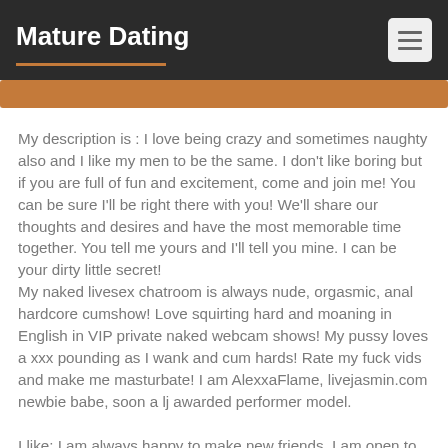Mature Dating
My description is : I love being crazy and sometimes naughty also and I like my men to be the same. I don't like boring but if you are full of fun and excitement, come and join me! You can be sure I'll be right there with you! We'll share our thoughts and desires and have the most memorable time together. You tell me yours and I'll tell you mine. I can be your dirty little secret!
My naked livesex chatroom is always nude, orgasmic, anal hardcore cumshow! Love squirting hard and moaning in English in VIP private naked webcam shows! My pussy loves a xxx pounding as I wank and cum hards! Rate my fuck vids and make me masturbate! I am AlexxaFlame, livejasmin.com newbie babe, soon a lj awarded performer model.
I like: I am always happy to make new friends. I am open to hear all your secrets and I promise I will never judge. Don't hesitate to message me if I'm not online, I love knowing you're doing fine. I am a joyful girl with special skills. I love